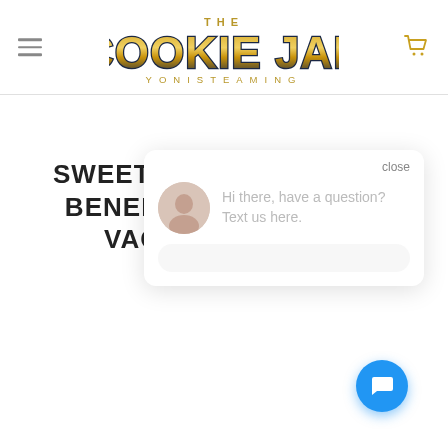The Cookie Jar Yoni Steaming — navigation header with hamburger menu and cart icon
SWEET COOKIE TONIC: 3 BENEFITS TO IMPROVE VAGINAL HEALTH
[Figure (screenshot): Live chat popup with avatar and message 'Hi there, have a question? Text us here.' with a close button and blue chat bubble button]
close
Hi there, have a question? Text us here.